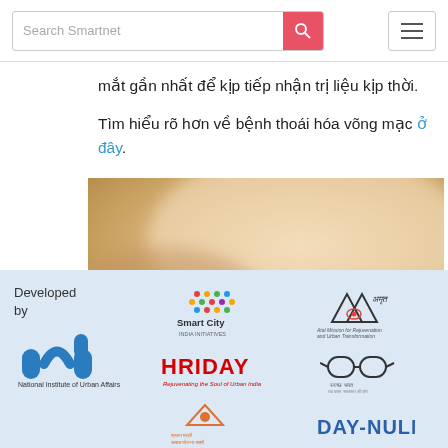Search Smartnet
mắt gần nhất để kịp tiếp nhận trị liệu kịp thời.
Tìm hiểu rõ hơn về bệnh thoái hóa võng mạc ở đây.
[Figure (photo): Close-up blurred image of human skin in warm tones]
[Figure (logo): Footer with logos: National Institute of Urban Affairs (NIUA), Smart City India, Atal Mission for Rejuvenation and Urban Transformation (AMRUT), HRIDAY - Rejuvenating the Soul of Urban India, Pradhan Mantri Awas Yojana, DAY-NULM]
Developed by